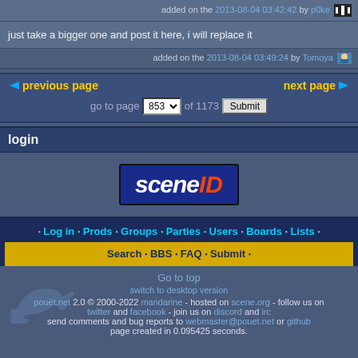added on the 2013-08-04 03:42:42 by p0ke
just take a bigger one and post it here, i will replace it
added on the 2013-08-04 03:49:24 by Tomoya
previous page   next page   go to page 853 of 1173 Submit
login
[Figure (logo): scene ID logo — dark blue rectangle with 'scene' in white italic bold and 'ID' in orange/red italic bold]
Log in • Prods • Groups • Parties • Users • Boards • Lists • Search • BBS • FAQ • Submit
Go to top
switch to desktop version
pouët.net 2.0 © 2000-2022 mandarine - hosted on scene.org - follow us on twitter and facebook - join us on discord and irc
send comments and bug reports to webmaster@pouet.net or github
page created in 0.095425 seconds.